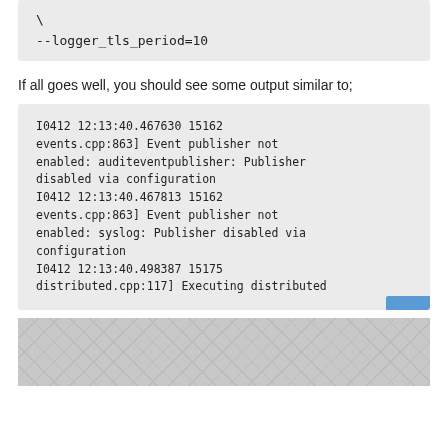\
--logger_tls_period=10
If all goes well, you should see some output similar to;
I0412 12:13:40.467630 15162 events.cpp:863] Event publisher not enabled: auditeventpublisher: Publisher disabled via configuration
I0412 12:13:40.467813 15162 events.cpp:863] Event publisher not enabled: syslog: Publisher disabled via configuration
I0412 12:13:40.498387 15175 distributed.cpp:117] Executing distributed
[Figure (other): Decorative hexagonal/cube pattern background graphic]